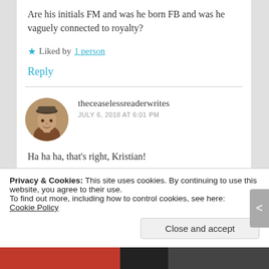Are his initials FM and was he born FB and was he vaguely connected to royalty?
★ Liked by 1 person
Reply
theceaselessreaderwrites
JULY 6, 2018 AT 6:01 PM
Ha ha ha, that's right, Kristian!
Privacy & Cookies: This site uses cookies. By continuing to use this website, you agree to their use.
To find out more, including how to control cookies, see here: Cookie Policy
Close and accept